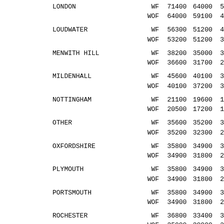| Location | Type | Col3 | Col4 | Col5 |
| --- | --- | --- | --- | --- |
| LONDON | WF | 71400 | 64000 | 5 |
|  | WOF | 64000 | 59100 | 4 |
| LOUDWATER | WF | 56300 | 51200 | 4 |
|  | WOF | 53200 | 51200 | 3 |
| MENWITH HILL | WF | 38200 | 35000 | 3 |
|  | WOF | 36600 | 31700 | 2 |
| MILDENHALL | WF | 45600 | 40100 | 3 |
|  | WOF | 40100 | 37200 | 3 |
| NOTTINGHAM | WF | 21100 | 19600 | 1 |
|  | WOF | 20500 | 17200 | 1 |
| OTHER | WF | 35600 | 35200 | 3 |
|  | WOF | 35200 | 32300 | 2 |
| OXFORDSHIRE | WF | 35800 | 34900 | 3 |
|  | WOF | 34900 | 31800 | 2 |
| PLYMOUTH | WF | 35800 | 34900 | 3 |
|  | WOF | 34900 | 31800 | 2 |
| PORTSMOUTH | WF | 35800 | 34900 | 3 |
|  | WOF | 34900 | 31800 | 2 |
| ROCHESTER | WF | 36800 | 33400 | 3 |
|  | WOF | 35000 | 30000 | 2 |
| SAMLESBURY | WF | 35600 | 35200 | 3 |